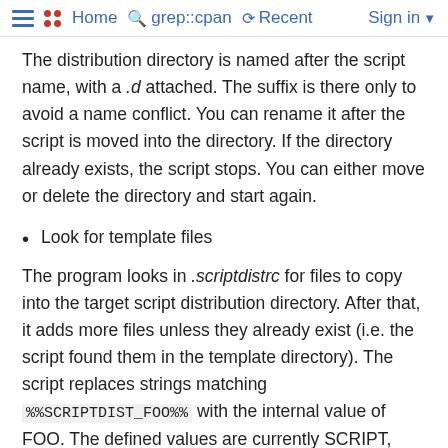Home  grep::cpan  Recent  Sign in
The distribution directory is named after the script name, with a .d attached. The suffix is there only to avoid a name conflict. You can rename it after the script is moved into the directory. If the directory already exists, the script stops. You can either move or delete the directory and start again.
Look for template files
The program looks in .scriptdistrc for files to copy into the target script distribution directory. After that, it adds more files unless they already exist (i.e. the script found them in the template directory). The script replaces strings matching %%SCRIPTDIST_FOO%% with the internal value of FOO. The defined values are currently SCRIPT, which substitutes the